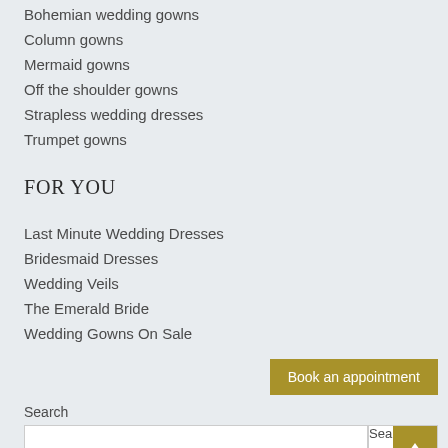Bohemian wedding gowns
Column gowns
Mermaid gowns
Off the shoulder gowns
Strapless wedding dresses
Trumpet gowns
FOR YOU
Last Minute Wedding Dresses
Bridesmaid Dresses
Wedding Veils
The Emerald Bride
Wedding Gowns On Sale
Book an appointment
Search
Search